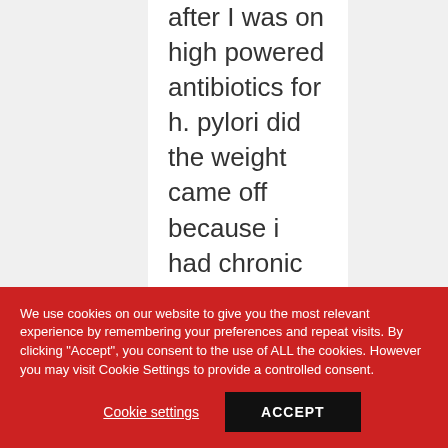after I was on high powered antibiotics for h. pylori did the weight came off because i had chronic stomach upset, diarrhea and
We use cookies on our website to give you the most relevant experience by remembering your preferences and repeat visits. By clicking "Accept", you consent to the use of ALL the cookies. However you may visit Cookie Settings to provide a controlled consent.
Cookie settings
ACCEPT